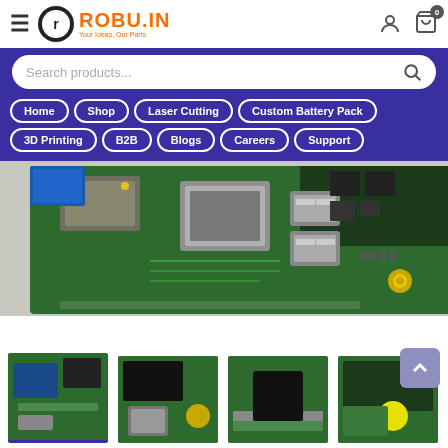ROBU.IN - Your Ideas, Our Parts
[Figure (screenshot): Search bar with placeholder text 'Search products...' and a search icon on the right]
[Figure (screenshot): Navigation menu with buttons: Home, Shop, Laser Cutting, Custom Battery Pack, 3D Printing, B2B, Blogs, Careers, Support on purple background]
[Figure (photo): Close-up photo of a single-board computer (Udoo Board) showing USB ports, HDMI port, ethernet and other connectors on a green PCB]
[Figure (photo): Four thumbnail images of the Udoo Board from different angles]
Udoo Board